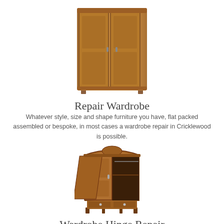[Figure (illustration): A wooden three-door wardrobe with brown finish, flat-pack style furniture]
Repair Wardrobe
Whatever style, size and shape furniture you have, flat packed assembled or bespoke, in most cases a wardrobe repair in Cricklewood is possible.
[Figure (illustration): An ornate antique wooden wardrobe with one door open, showing interior, decorative carved top and drawers at the bottom]
Wardrobe Hinge Repair
If you've experience hinge damage on your furniture, you will